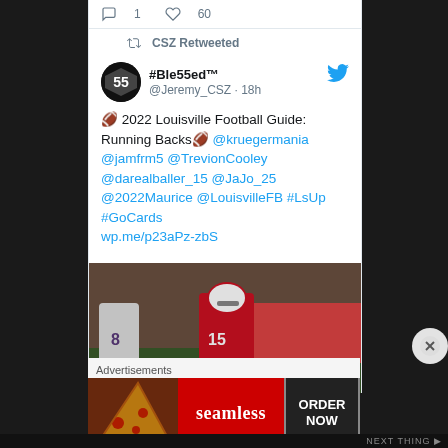1  60
CSZ Retweeted
#Ble55ed™ @Jeremy_CSZ · 18h
🏈 2022 Louisville Football Guide: Running Backs🏈 @kruegermania @jamfrm5 @TrevionCooley @darealballer_15 @JaJo_25 @2022Maurice @LouisvilleFB #LsUp #GoCards wp.me/p23aPz-zbS
[Figure (photo): Football player wearing number 15 in red Louisville Cardinals uniform running on field, with player number 8 in white uniform in foreground and cheerleaders in background]
Advertisements
[Figure (photo): Seamless food ordering advertisement banner with pizza image on left, red Seamless logo in center, and ORDER NOW button on right]